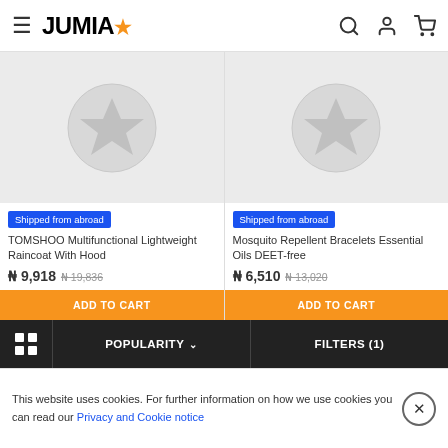JUMIA (logo with star icon), search icon, user icon, cart icon
[Figure (screenshot): Product image placeholder for TOMSHOO raincoat — grey background with white star in circle icon]
Shipped from abroad
TOMSHOO Multifunctional Lightweight Raincoat With Hood
₦ 9,918  ₦ 19,836
ADD TO CART
[Figure (screenshot): Product image placeholder for Mosquito Repellent Bracelets — grey background with white star in circle icon]
Shipped from abroad
Mosquito Repellent Bracelets Essential Oils DEET-free
₦ 6,510  ₦ 13,020
ADD TO CART
Grid icon | POPULARITY ˅ | FILTERS (1)
This website uses cookies. For further information on how we use cookies you can read our Privacy and Cookie notice